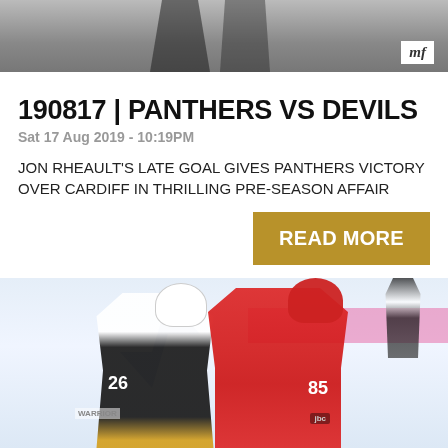[Figure (photo): Top portion of hockey players on ice rink, black and white uniforms, partial view cropped at top of page]
190817 | PANTHERS VS DEVILS
Sat 17 Aug 2019 - 10:19PM
JON RHEAULT'S LATE GOAL GIVES PANTHERS VICTORY OVER CARDIFF IN THRILLING PRE-SEASON AFFAIR
READ MORE
[Figure (photo): Hockey game photo showing player #26 in black/gold Nottingham Panthers uniform battling player #85 in red Cardiff Devils uniform on ice rink]